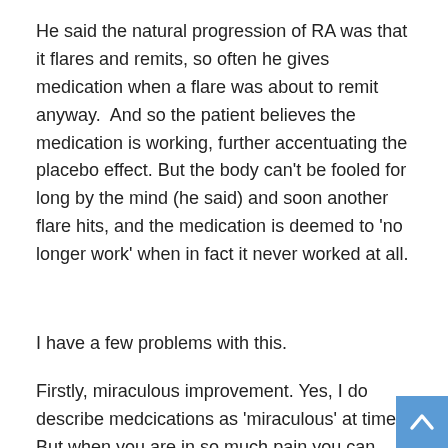He said the natural progression of RA was that it flares and remits, so often he gives medication when a flare was about to remit anyway.  And so the patient believes the medication is working, further accentuating the placebo effect. But the body can't be fooled for long by the mind (he said) and soon another flare hits, and the medication is deemed to 'no longer work' when in fact it never worked at all.
I have a few problems with this.
Firstly, miraculous improvement. Yes, I do describe medcications as 'miraculous' at times. But when you are in so much pain you can barely get off the couch and can't walk without excruciating pain and when that pain is all over your body, even what he would call a small improve ment (20-30%)